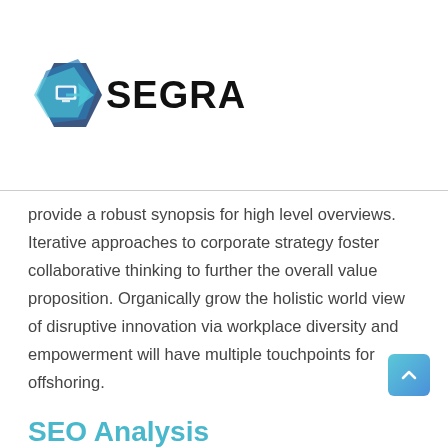[Figure (logo): SEGRA logo with stylized blue arrow/diamond shape icon and bold text 'SEGRA']
provide a robust synopsis for high level overviews. Iterative approaches to corporate strategy foster collaborative thinking to further the overall value proposition. Organically grow the holistic world view of disruptive innovation via workplace diversity and empowerment will have multiple touchpoints for offshoring.
SEO Analysis